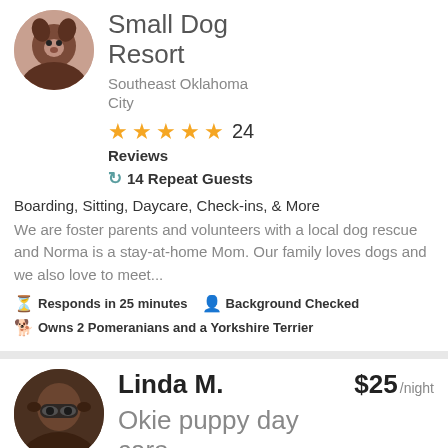Small Dog Resort
Southeast Oklahoma City
★★★★★ 24 Reviews
14 Repeat Guests
Boarding, Sitting, Daycare, Check-ins, & More
We are foster parents and volunteers with a local dog rescue and Norma is a stay-at-home Mom. Our family loves dogs and we also love to meet...
Responds in 25 minutes  Background Checked
Owns 2 Pomeranians and a Yorkshire Terrier
Linda M.
$25 /night
Okie puppy day care